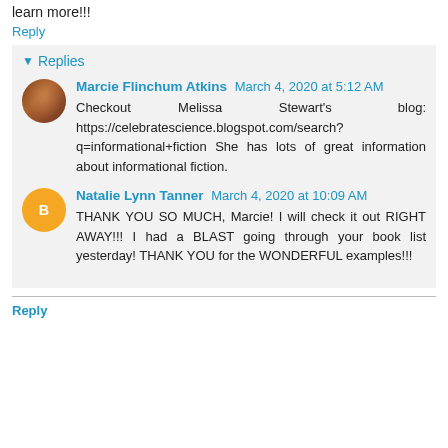learn more!!!
Reply
Replies
Marcie Flinchum Atkins March 4, 2020 at 5:12 AM
Checkout Melissa Stewart's blog: https://celebratescience.blogspot.com/search?q=informational+fiction She has lots of great information about informational fiction.
Natalie Lynn Tanner March 4, 2020 at 10:09 AM
THANK YOU SO MUCH, Marcie! I will check it out RIGHT AWAY!!! I had a BLAST going through your book list yesterday! THANK YOU for the WONDERFUL examples!!!
Reply